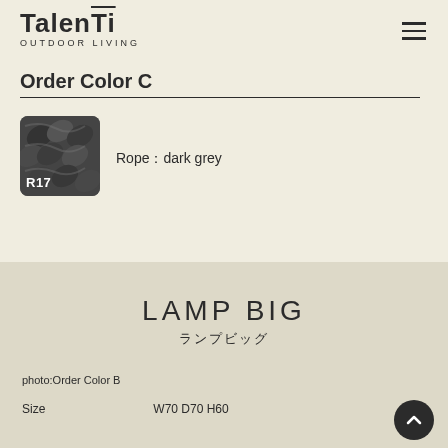Talenti OUTDOOR LIVING
Order Color C
[Figure (photo): Dark grey twisted rope texture swatch labeled R17]
Rope：dark grey
LAMP BIG
ランプビッグ
photo:Order Color B
Size       W70 D70 H60